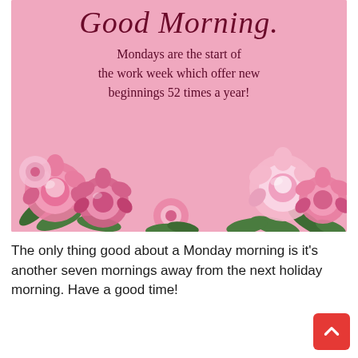[Figure (illustration): Pink background motivational image with cursive 'Good Morning.' text and a quote about Mondays, decorated with pink peony flowers at the bottom.]
The only thing good about a Monday morning is it's another seven mornings away from the next holiday morning. Have a good time!